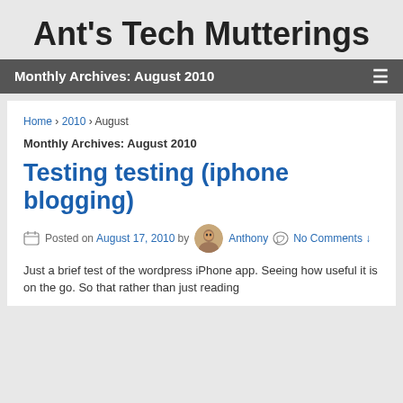Ant's Tech Mutterings
Monthly Archives: August 2010
Home › 2010 › August
Monthly Archives: August 2010
Testing testing (iphone blogging)
Posted on August 17, 2010 by Anthony No Comments ↓
Just a brief test of the wordpress iPhone app. Seeing how useful it is on the go. So that rather than just reading